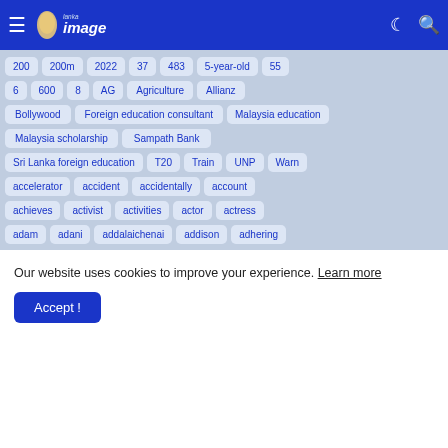Lanka Image — navigation header with hamburger menu, logo, moon icon, search icon
200
200m
2022
37
483
5-year-old
55
6
600
8
AG
Agriculture
Allianz
Bollywood
Foreign education consultant
Malaysia education
Malaysia scholarship
Sampath Bank
Sri Lanka foreign education
T20
Train
UNP
Warn
accelerator
accident
accidentally
account
achieves
activist
activities
actor
actress
adam
adani
addalaichenai
addison
adhering
Our website uses cookies to improve your experience. Learn more
Accept !